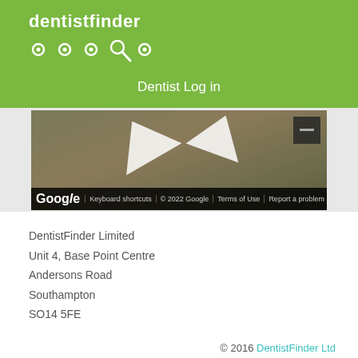[Figure (logo): DentistFinder logo with white text and dot icons on green background]
Dentist Log in
[Figure (screenshot): Google Maps street view screenshot showing road with arrows, Keyboard shortcuts, © 2022 Google, Terms of Use, Report a problem]
DentistFinder Limited
Unit 4, Base Point Centre
Andersons Road
Southampton
SO14 5FE
© 2016 DentistFinder Ltd
Dentist Finder is a UK Limited Company
Company No. 07029531